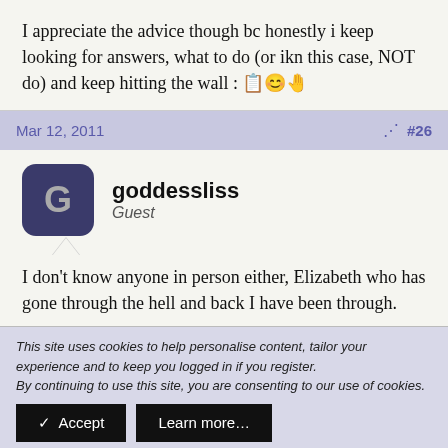I appreciate the advice though bc honestly i keep looking for answers, what to do (or ikn this case, NOT do) and keep hitting the wall : 📋🙂🤚
Mar 12, 2011  #26
goddessliss
Guest
I don't know anyone in person either, Elizabeth who has gone through the hell and back I have been through.
This site uses cookies to help personalise content, tailor your experience and to keep you logged in if you register.
By continuing to use this site, you are consenting to our use of cookies.
✓ Accept   Learn more…